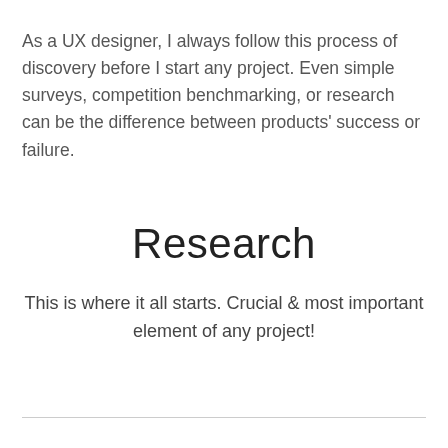As a UX designer, I always follow this process of discovery before I start any project. Even simple surveys, competition benchmarking, or research can be the difference between products' success or failure.
Research
This is where it all starts. Crucial & most important element of any project!